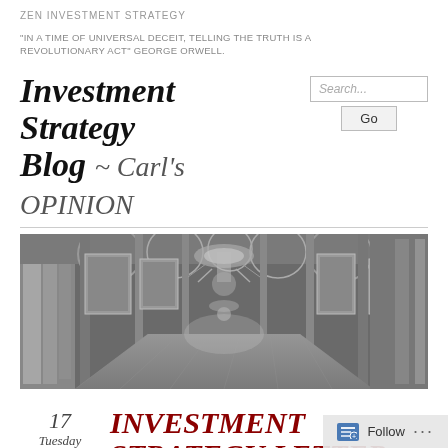ZEN INVESTMENT STRATEGY
“IN A TIME OF UNIVERSAL DECEIT, TELLING THE TRUTH IS A REVOLUTIONARY ACT” GEORGE ORWELL.
Investment Strategy Blog ~ Carl's OPINION
[Figure (photo): Black and white photo of an ornate palatial hallway with arched ceilings, chandeliers, and framed paintings on walls]
17 Tuesday Feb 2015
INVESTMENT STRATEGY LETTER